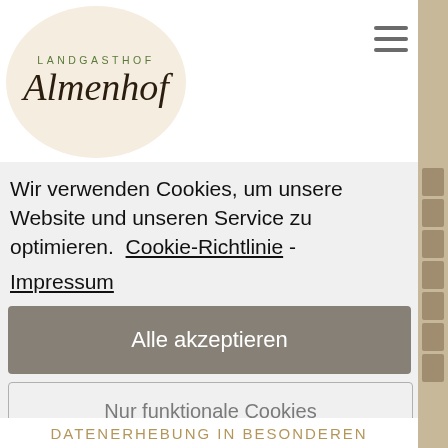[Figure (logo): Landgasthof Almenhof logo — oval beige shape with text 'LANDGASTHOF' in small green caps at top and 'Almenhof' in large italic script below]
Wir verwenden Cookies, um unsere Website und unseren Service zu optimieren.  Cookie-Richtlinie - Impressum
Alle akzeptieren
Nur funktionale Cookies
Einstellungen anzeigen
DATENERHEBUNG IN BESONDEREN